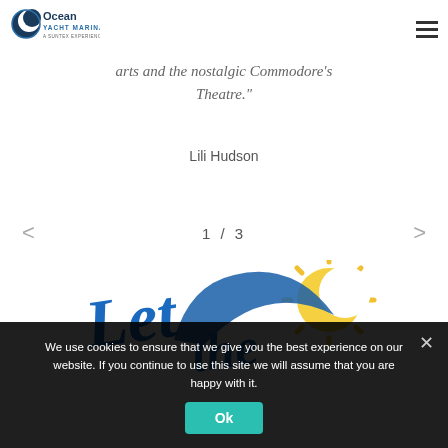[Figure (logo): Ocean Yacht Marina logo - circular dark blue icon with crescent and 'Ocean Yacht Marina / A Suntex Experience' text]
arts and the nostalgic Commodore's Theatre."
Lili Hudson
1 / 3
[Figure (illustration): Colorful script lettering graphic reading 'Let the...' in blue script with a yellow sun icon, partial view]
We use cookies to ensure that we give you the best experience on our website. If you continue to use this site we will assume that you are happy with it.
Ok